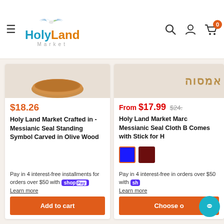HolyLand Market
[Figure (screenshot): Product card: Holy Land Market Crafted in - Messianic Seal Standing Symbol Carved in Olive Wood, priced at $18.26]
$18.26
Holy Land Market Crafted in - Messianic Seal Standing Symbol Carved in Olive Wood
Pay in 4 interest-free installments for orders over $50 with Shop Pay
Learn more
Add to cart
[Figure (screenshot): Product card: Holy Land Market Maroon Messianic Seal Cloth Banner Comes with Stick, From $17.99, was $24.xx, with blue and maroon color swatches]
From $17.99  $24.
Holy Land Market Marc Messianic Seal Cloth B Comes with Stick for H
Pay in 4 interest-free installments for orders over $50 with Shop Pay
Learn more
Choose o